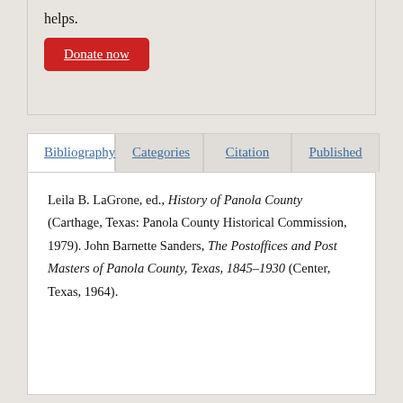helps.
Donate now
Bibliography
Categories
Citation
Published
Leila B. LaGrone, ed., History of Panola County (Carthage, Texas: Panola County Historical Commission, 1979). John Barnette Sanders, The Postoffices and Post Masters of Panola County, Texas, 1845–1930 (Center, Texas, 1964).
Related Book(s):